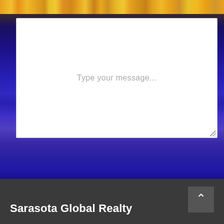[Figure (photo): Nighttime waterfront city scene with purple/blue reflections on water and warm city lights along the top]
Type your message...
Send Message
Sarasota Global Realty